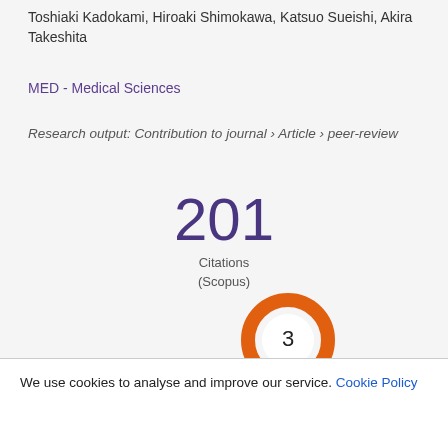Toshiaki Kadokami, Hiroaki Shimokawa, Katsuo Sueishi, Akira Takeshita
MED - Medical Sciences
Research output: Contribution to journal › Article › peer-review
[Figure (donut-chart): 201 Citations (Scopus)]
[Figure (donut-chart): Orange donut chart showing the number 3 in the center]
We use cookies to analyse and improve our service. Cookie Policy